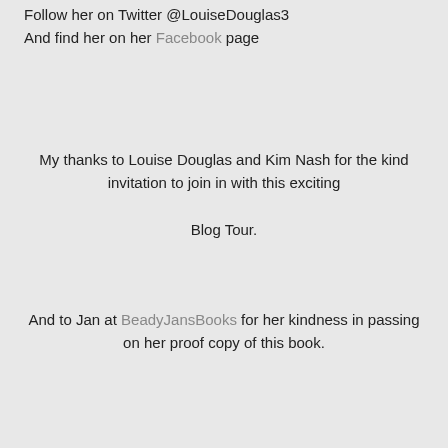Follow her on Twitter @LouiseDouglas3
And find her on her Facebook page
My thanks to Louise Douglas and Kim Nash for the kind invitation to join in with this exciting

Blog Tour.
And to Jan at BeadyJansBooks for her kindness in passing on her proof copy of this book.